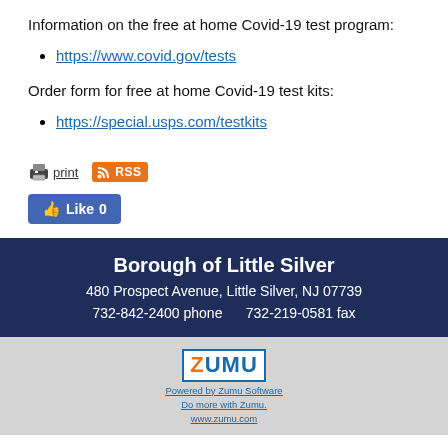Information on the free at home Covid-19 test program:
https://www.covid.gov/tests
Order form for free at home Covid-19 test kits:
https://special.usps.com/testkits
print  RSS  Like 0
Borough of Little Silver
480 Prospect Avenue, Little Silver, NJ 07739
732-842-2400 phone    732-219-0581 fax
ZUMU
Powered by Zumu Software
Do more with Zumu.
www.zumu.com